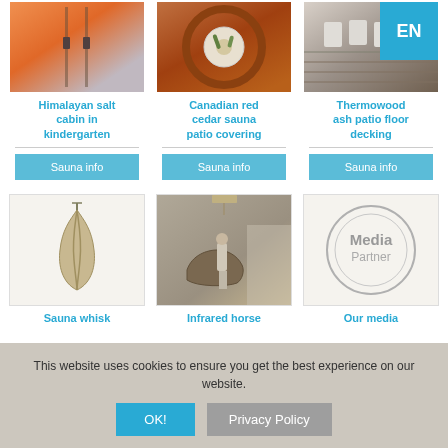[Figure (photo): Himalayan salt cabin interior with pink/orange walls]
[Figure (photo): Canadian red cedar sauna patio covering, circular overhead view]
[Figure (photo): Thermowood ash patio floor decking with chairs]
Himalayan salt cabin in kindergarten
Canadian red cedar sauna patio covering
Thermowood ash patio floor decking
Sauna info
Sauna info
Sauna info
[Figure (photo): Sauna whisk hanging]
[Figure (photo): Infrared horse stable interior with person and horse]
[Figure (logo): Media Partner circular logo]
Sauna whisk
Infrared horse
Our media
This website uses cookies to ensure you get the best experience on our website.
OK!
Privacy Policy